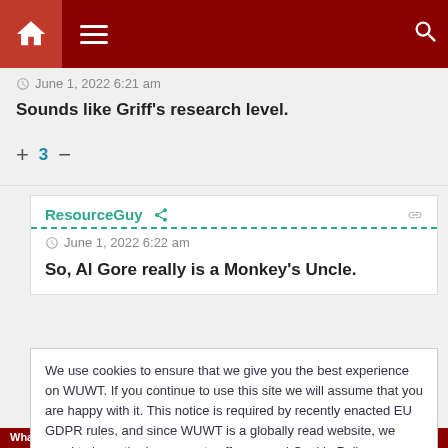Navigation bar with home, menu, and search icons
June 1, 2022 6:21 am
Sounds like Griff's research level.
+ 3 –
ResourceGuy
June 1, 2022 6:22 am
So, Al Gore really is a Monkey's Uncle.
We use cookies to ensure that we give you the best experience on WUWT. If you continue to use this site we will assume that you are happy with it. This notice is required by recently enacted EU GDPR rules, and since WUWT is a globally read website, we need to keep the bureaucrats off our case! Cookie Policy
Close and accept